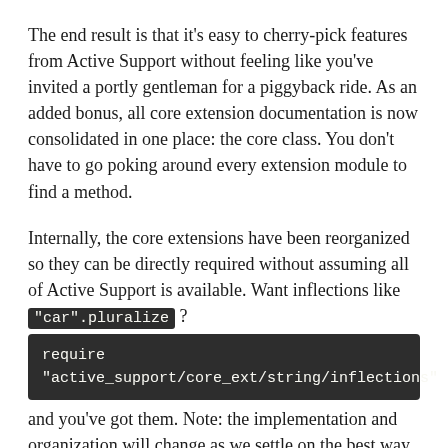The end result is that it's easy to cherry-pick features from Active Support without feeling like you've invited a portly gentleman for a piggyback ride. As an added bonus, all core extension documentation is now consolidated in one place: the core class. You don't have to go poking around every extension module to find a method.
Internally, the core extensions have been reorganized so they can be directly required without assuming all of Active Support is available. Want inflections like "car".pluralize? require "active_support/core_ext/string/inflections" and you've got them. Note: the implementation and organization will change as we settle on the best way to provide core extensions.
Other Extensions